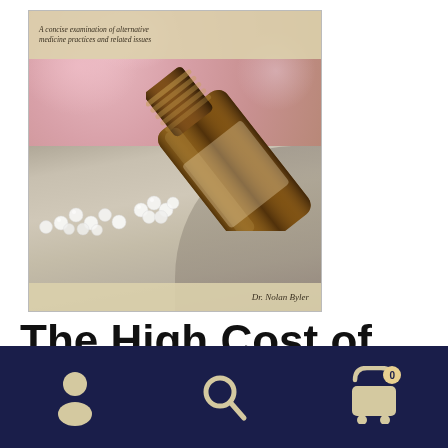[Figure (photo): Book cover showing a tipped-over amber glass bottle with homeopathic white pellets/pills spilling out onto a granite stone, with blurred pink floral background and cream banners top and bottom. Subtitle reads 'A concise examination of alternative medicine practices and related issues'. Author: Dr. Nolan Byler.]
The High Cost of Holistic Health
[Figure (other): Dark navy blue bottom navigation bar with three icons: person/account icon on the left, magnifying glass/search icon in the center, shopping cart with badge showing '0' on the right. Icons are in a cream/beige color.]